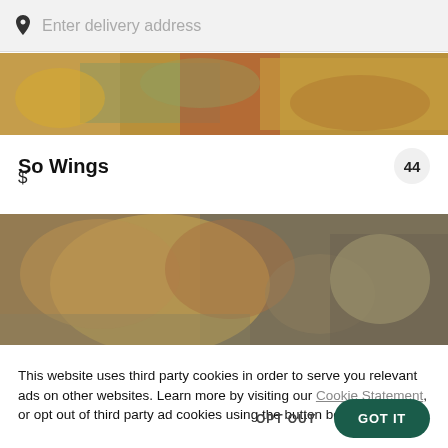[Figure (screenshot): Search bar with location pin icon and placeholder text 'Enter delivery address' on light grey background]
[Figure (photo): Top portion of food photo showing various fried foods and dishes on a table]
So Wings
44
$
[Figure (photo): Close-up photo of fried chicken wings in a white container]
This website uses third party cookies in order to serve you relevant ads on other websites. Learn more by visiting our Cookie Statement, or opt out of third party ad cookies using the button below.
OPT OUT
GOT IT